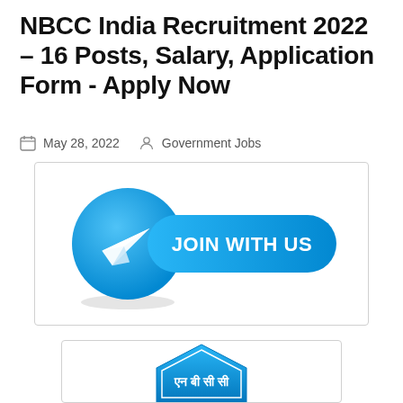NBCC India Recruitment 2022 – 16 Posts, Salary, Application Form - Apply Now
May 28, 2022   Government Jobs
[Figure (illustration): Telegram 'JOIN WITH US' banner with Telegram logo circle and blue rounded button]
[Figure (logo): NBCC India logo - blue house/diamond shape with Hindi text एन बी सी सी]